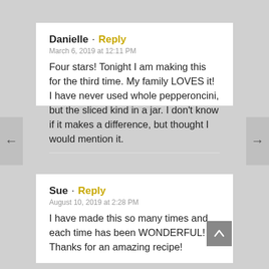Danielle · Reply
March 6, 2019 at 12:11 PM
Four stars! Tonight I am making this for the third time. My family LOVES it! I have never used whole pepperoncini, but the sliced kind in a jar. I don't know if it makes a difference, but thought I would mention it.
Sue · Reply
August 10, 2019 at 2:28 PM
I have made this so many times and each time has been WONDERFUL! Thanks for an amazing recipe!